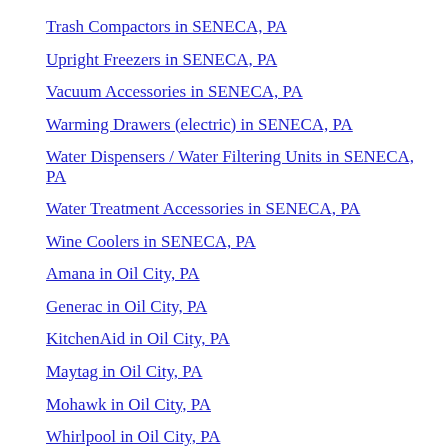Trash Compactors in SENECA, PA
Upright Freezers in SENECA, PA
Vacuum Accessories in SENECA, PA
Warming Drawers (electric) in SENECA, PA
Water Dispensers / Water Filtering Units in SENECA, PA
Water Treatment Accessories in SENECA, PA
Wine Coolers in SENECA, PA
Amana in Oil City, PA
Generac in Oil City, PA
KitchenAid in Oil City, PA
Maytag in Oil City, PA
Mohawk in Oil City, PA
Whirlpool in Oil City, PA